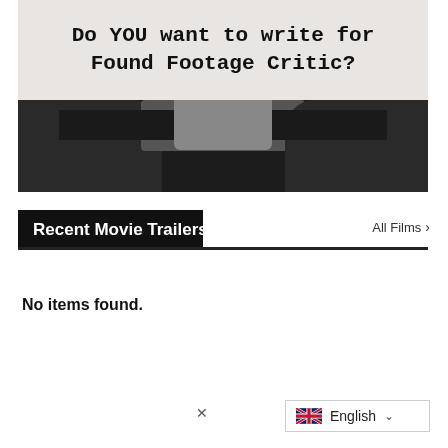[Figure (photo): Banner image with typewriter text on light background reading 'Do YOU want to write for Found Footage Critic?' over a dark background showing typewriter keys]
Recent Movie Trailers
All Films >
No items found.
English